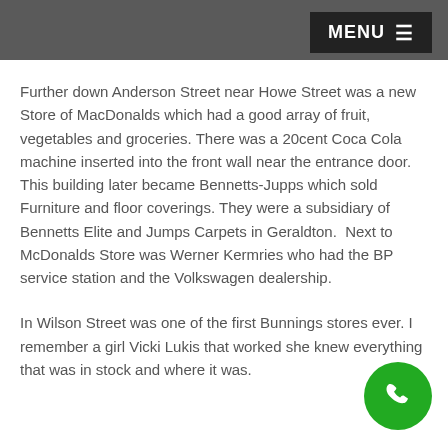MENU
Further down Anderson Street near Howe Street was a new Store of MacDonalds which had a good array of fruit, vegetables and groceries. There was a 20cent Coca Cola machine inserted into the front wall near the entrance door. This building later became Bennetts-Jupps which sold Furniture and floor coverings. They were a subsidiary of Bennetts Elite and Jumps Carpets in Geraldton.  Next to McDonalds Store was Werner Kermries who had the BP service station and the Volkswagen dealership.
In Wilson Street was one of the first Bunnings stores ever. I remember a girl Vicki Lukis that worked there she knew everything that was in stock and where it was.